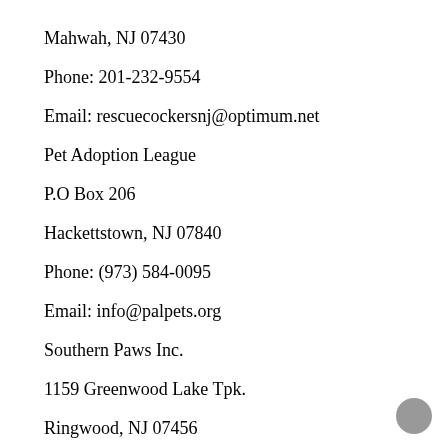Mahwah, NJ 07430
Phone: 201-232-9554
Email: rescuecockersnj@optimum.net
Pet Adoption League
P.O Box 206
Hackettstown, NJ 07840
Phone: (973) 584-0095
Email: info@palpets.org
Southern Paws Inc.
1159 Greenwood Lake Tpk.
Ringwood, NJ 07456
Phone: (973) 556-5885
Email: southernpawsrescue@gmail.com
Trenton Cats Rescue